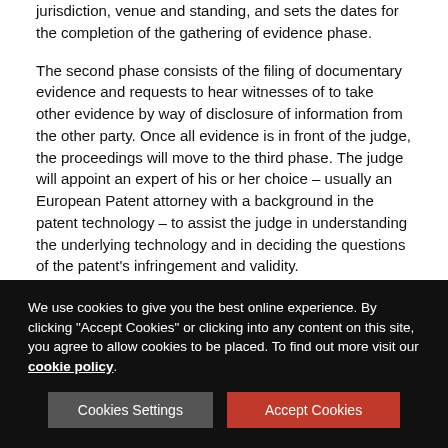jurisdiction, venue and standing, and sets the dates for the completion of the gathering of evidence phase.
The second phase consists of the filing of documentary evidence and requests to hear witnesses of to take other evidence by way of disclosure of information from the other party. Once all evidence is in front of the judge, the proceedings will move to the third phase. The judge will appoint an expert of his or her choice – usually an European Patent attorney with a background in the patent technology – to assist the judge in understanding the underlying technology and in deciding the questions of the patent's infringement and validity.
As soon as the court-appointed expert submits his or her report, the case will move to the final phase, where each party makes its final written submissions and rebuttal. Only at the end of this phase the judge would be in a position to render a judgment.
We use cookies to give you the best online experience. By clicking "Accept Cookies" or clicking into any content on this site, you agree to allow cookies to be placed. To find out more visit our cookie policy.